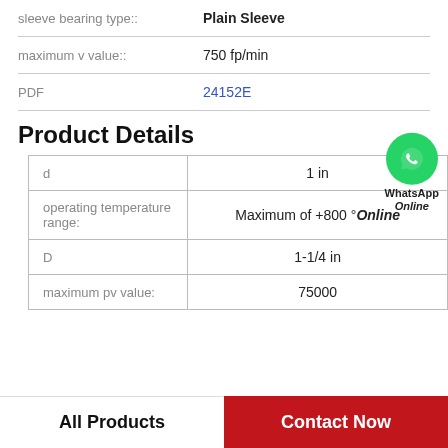|  |  |
| --- | --- |
| sleeve bearing type:: | Plain Sleeve |
| maximum v value:: | 750 fp/min |
| PDF | 24152E |
Product Details
| d | operating temperature range: | D | maximum pv value: |
| --- | --- | --- | --- |
| d | 1 in |
| operating temperature range: | Maximum of +800 ° |
| D | 1-1/4 in |
| maximum pv value: | 75000 |
All Products
Contact Now